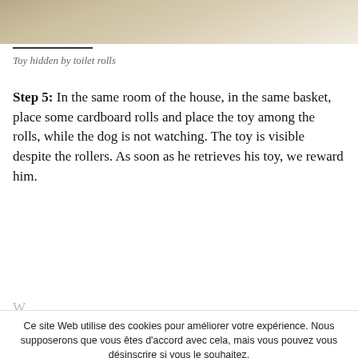[Figure (photo): Partial view of a toy hidden among toilet/cardboard rolls in a basket, showing the top portion of the image cropped at page top]
Toy hidden by toilet rolls
Step 5: In the same room of the house, in the same basket, place some cardboard rolls and place the toy among the rolls, while the dog is not watching. The toy is visible despite the rollers. As soon as he retrieves his toy, we reward him.
Ce site Web utilise des cookies pour améliorer votre expérience. Nous supposerons que vous êtes d'accord avec cela, mais vous pouvez vous désinscrire si vous le souhaitez.
Paramètres des cookies
Accepter